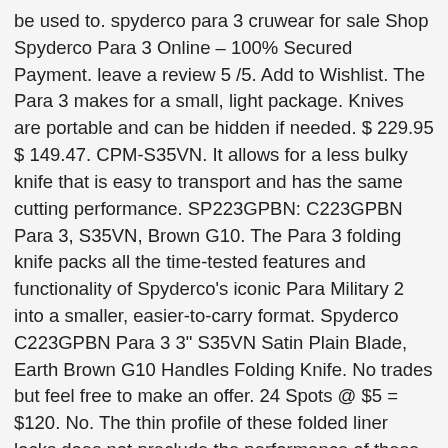be used to. spyderco para 3 cruwear for sale Shop Spyderco Para 3 Online – 100% Secured Payment. leave a review 5 /5. Add to Wishlist. The Para 3 makes for a small, light package. Knives are portable and can be hidden if needed. $ 229.95 $ 149.47. CPM-S35VN. It allows for a less bulky knife that is easy to transport and has the same cutting performance. SP223GPBN: C223GPBN Para 3, S35VN, Brown G10. The Para 3 folding knife packs all the time-tested features and functionality of Spyderco's iconic Para Military 2 into a smaller, easier-to-carry format. Spyderco C223GPBN Para 3 3" S35VN Satin Plain Blade, Earth Brown G10 Handles Folding Knife. No trades but feel free to make an offer. 24 Spots @ $5 = $120. No. The thin profile of these folded liner locks does not preclude the performance of these rigid and precision cuts. Knife lock can be reinforced by inlaying or nesting knives. This Para 3 is immediately more friendly to the hand, and weighs considerably less. Add to bag. Spyderco C223GPBNBK Para 3 Earth Brown G-10 2.95" DLC CPM-S35VN-Distributor Exclusive! Both steels perform equally well, but tend to tell the difference... Para collector... it all